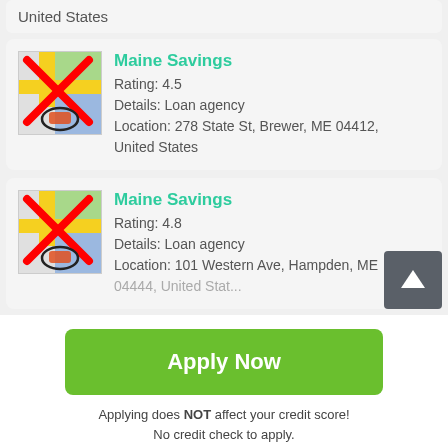United States
Maine Savings
Rating: 4.5
Details: Loan agency
Location: 278 State St, Brewer, ME 04412, United States
Maine Savings
Rating: 4.8
Details: Loan agency
Location: 101 Western Ave, Hampden, ME 04444, United States
Apply Now
Applying does NOT affect your credit score!
No credit check to apply.